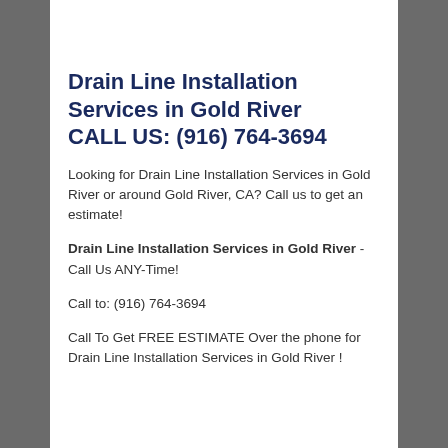Drain Line Installation Services in Gold River CALL US: (916) 764-3694
Looking for Drain Line Installation Services in Gold River or around Gold River, CA? Call us to get an estimate!
Drain Line Installation Services in Gold River - Call Us ANY-Time!
Call to: (916) 764-3694
Call To Get FREE ESTIMATE Over the phone for Drain Line Installation Services in Gold River !